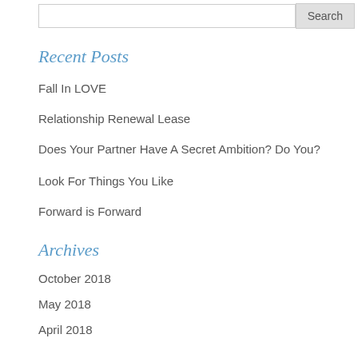Recent Posts
Fall In LOVE
Relationship Renewal Lease
Does Your Partner Have A Secret Ambition? Do You?
Look For Things You Like
Forward is Forward
Archives
October 2018
May 2018
April 2018
March 2018
February 2018